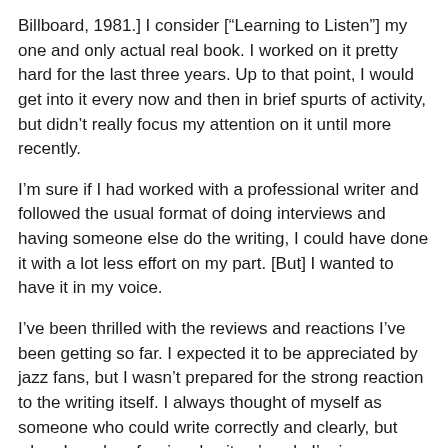Billboard, 1981.] I consider [“Learning to Listen”] my one and only actual real book. I worked on it pretty hard for the last three years. Up to that point, I would get into it every now and then in brief spurts of activity, but didn’t really focus my attention on it until more recently.
I’m sure if I had worked with a professional writer and followed the usual format of doing interviews and having someone else do the writing, I could have done it with a lot less effort on my part. [But] I wanted to have it in my voice.
I’ve been thrilled with the reviews and reactions I’ve been getting so far. I expected it to be appreciated by jazz fans, but I wasn’t prepared for the strong reaction to the writing itself. I always thought of myself as someone who could write correctly and clearly, but when I read professional writers’ work, I’m in awe.
For many musicians, their recordings are their legacy. Why did you feel so strongly that you needed to write your autobiography, and that you had to do it yourself?